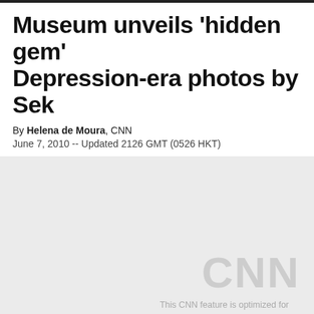Museum unveils 'hidden gem' Depression-era photos by Sek
By Helena de Moura, CNN
June 7, 2010 -- Updated 2126 GMT (0526 HKT)
[Figure (screenshot): CNN media placeholder with CNN watermark logo and text: 'This CNN feature is optimized for Adobe Flash Player version 9 or higher']